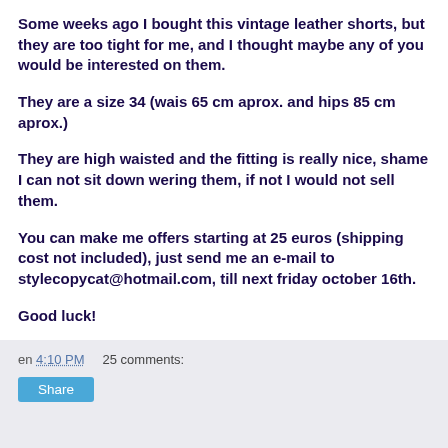Some weeks ago I bought this vintage leather shorts, but they are too tight for me, and I thought maybe any of you would be interested on them.
They are a size 34 (wais 65 cm aprox. and hips 85 cm aprox.)
They are high waisted and the fitting is really nice, shame I can not sit down wering them, if not I would not sell them.
You can make me offers starting at 25 euros (shipping cost not included), just send me an e-mail to stylecopycat@hotmail.com, till next friday october 16th.
Good luck!
en 4:10 PM   25 comments:   Share